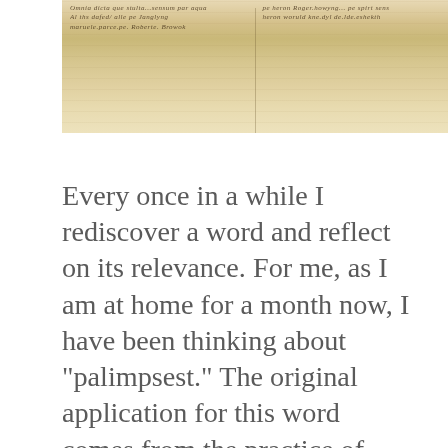[Figure (photo): Photograph of an ancient parchment palimpsest showing medieval handwritten text in two columns, with older underlying text partially visible beneath newer script. The parchment has a yellowish-beige color with irregular wavy bottom edge.]
Every once in a while I rediscover a word and reflect on its relevance. For me, as I am at home for a month now, I have been thinking about "palimpsest." The original application for this word comes from the practice of reusing a piece of parchment or other material by writing over the previous writing. As shown above, traces of the original still show through, even though the new text stands out more clearly.
But when I was thinking and then writing about my muscle memory, I realized that as I was exercising I was experiencing my body as a sort of living